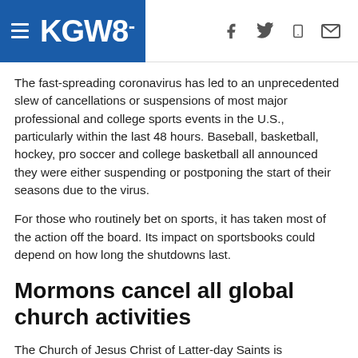KGW8
The fast-spreading coronavirus has led to an unprecedented slew of cancellations or suspensions of most major professional and college sports events in the U.S., particularly within the last 48 hours. Baseball, basketball, hockey, pro soccer and college basketball all announced they were either suspending or postponing the start of their seasons due to the virus.
For those who routinely bet on sports, it has taken most of the action off the board. Its impact on sportsbooks could depend on how long the shutdowns last.
Mormons cancel all global church activities
The Church of Jesus Christ of Latter-day Saints is